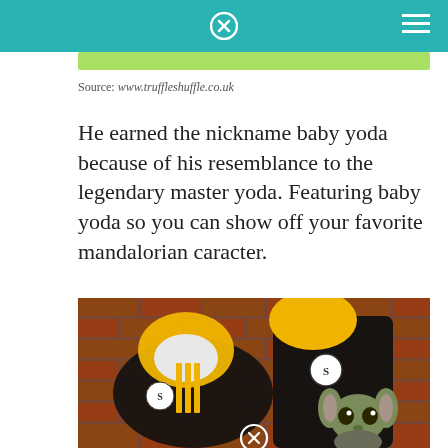Source: www.truffleshuffle.co.uk
He earned the nickname baby yoda because of his resemblance to the legendary master yoda. Featuring baby yoda so you can show off your favorite mandalorian caracter.
[Figure (photo): Product photo showing Pittsburgh Steelers themed hoodies in black and yellow with Baby Yoda character, displayed against a brick wall background.]